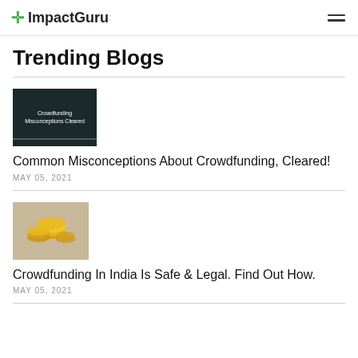ImpactGuru
Trending Blogs
[Figure (photo): Chalkboard with text about crowdfunding misconceptions]
Common Misconceptions About Crowdfunding, Cleared!
MAY 05, 2021
[Figure (photo): Gold coins stacked, related to crowdfunding in India]
Crowdfunding In India Is Safe & Legal. Find Out How.
MAY 05, 2021